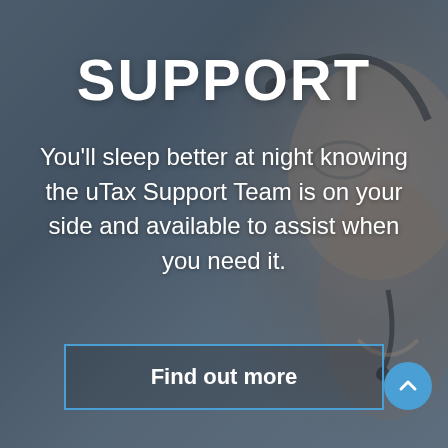[Figure (photo): Background photo of a customer support person wearing a headset, with a dark overlay, used as a promotional/marketing image for uTax support services.]
SUPPORT
You'll sleep better at night knowing the uTax Support Team is on your side and available to assist when you need it.
Find out more